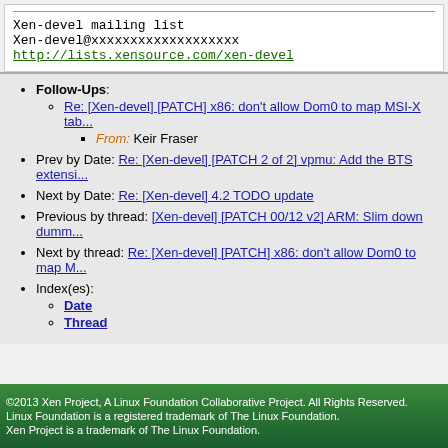Xen-devel mailing list
Xen-devel@xxxxxxxxxxxxxxxxxxx
http://lists.xensource.com/xen-devel
Follow-Ups: Re: [Xen-devel] [PATCH] x86: don't allow Dom0 to map MSI-X tab... From: Keir Fraser
Prev by Date: Re: [Xen-devel] [PATCH 2 of 2] vpmu: Add the BTS extensi...
Next by Date: Re: [Xen-devel] 4.2 TODO update
Previous by thread: [Xen-devel] [PATCH 00/12 v2] ARM: Slim down dumm...
Next by thread: Re: [Xen-devel] [PATCH] x86: don't allow Dom0 to map M...
Index(es): Date, Thread
©2013 Xen Project, A Linux Foundation Collaborative Project. All Rights Reserved. Linux Foundation is a registered trademark of The Linux Foundation. Xen Project is a trademark of The Linux Foundation.